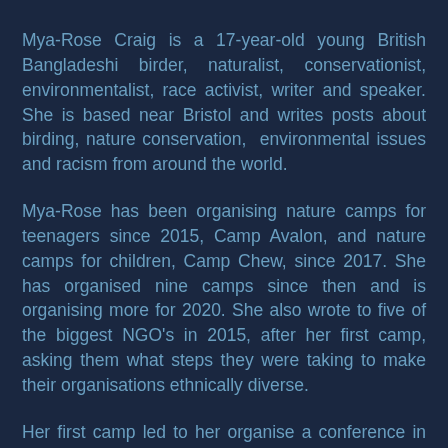Mya-Rose Craig is a 17-year-old young British Bangladeshi birder, naturalist, conservationist, environmentalist, race activist, writer and speaker. She is based near Bristol and writes posts about birding, nature conservation, environmental issues and racism from around the world.
Mya-Rose has been organising nature camps for teenagers since 2015, Camp Avalon, and nature camps for children, Camp Chew, since 2017. She has organised nine camps since then and is organising more for 2020. She also wrote to five of the biggest NGO's in 2015, after her first camp, asking them what steps they were taking to make their organisations ethnically diverse.
Her first camp led to her organise a conference in 2016, Race Equality in Nature, aiming to increase the